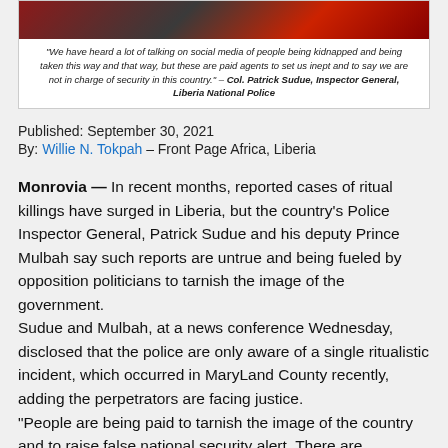[Figure (photo): Partial image at top showing a dark red/black scene, with an italic caption quote below it reading: 'We have heard a lot of talking on social media of people being kidnapped and being taken this way and that way, but these are paid agents to set us inept and to say we are not in charge of security in this country.' – Col. Patrick Sudue, Inspector General, Liberia National Police]
Published: September 30, 2021
By: Willie N. Tokpah – Front Page Africa, Liberia
Monrovia — In recent months, reported cases of ritual killings have surged in Liberia, but the country's Police Inspector General, Patrick Sudue and his deputy Prince Mulbah say such reports are untrue and being fueled by opposition politicians to tarnish the image of the government.
Sudue and Mulbah, at a news conference Wednesday, disclosed that the police are only aware of a single ritualistic incident, which occurred in MaryLand County recently, adding the perpetrators are facing justice.
“People are being paid to tarnish the image of the country and to raise false national security alert. There are inconsistencies in their statements,” Sudue says.